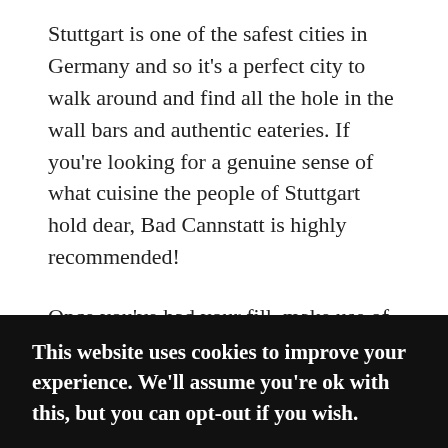Stuttgart is one of the safest cities in Germany and so it's a perfect city to walk around and find all the hole in the wall bars and authentic eateries. If you're looking for a genuine sense of what cuisine the people of Stuttgart hold dear, Bad Cannstatt is highly recommended!
Once you've had your fill, make use of Germany's excellent railway system and enjoy an afternoon picnic at Stuttgart's most famous park Killesberg park! Whether you enjoy the tower or not it's a great way to enjoy the local vibe.
End the day by enjoying a once in a lifetime night at the Staatstheater. Whatever is on is guaranteed to be world-
This website uses cookies to improve your experience. We'll assume you're ok with this, but you can opt-out if you wish.